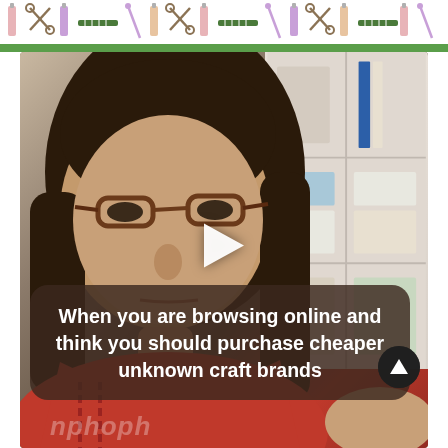[Figure (illustration): Decorative craft-themed banner pattern strip at top showing sewing/crafting tools and supplies icons on white background with green stripe at bottom edge]
[Figure (screenshot): Video thumbnail screenshot of a woman with brown hair and tortoiseshell glasses wearing a red shirt, sitting in front of a white shelving unit filled with craft supplies. A white play button triangle is overlaid in the center of the image. A dark rounded text overlay at the bottom reads: 'When you are browsing online and think you should purchase cheaper unknown craft brands'. A scroll-up arrow button appears at bottom right.]
When you are browsing online and think you should purchase cheaper unknown craft brands